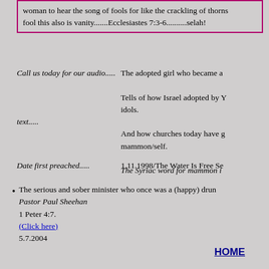woman to hear the song of fools for like the crackling of thorns... fool this also is vanity.......Ecclesiastes 7:3-6..........selah!
Call us today for our audio.....
The adopted girl who became a...
Tells of how Israel adopted by... idols.
text.....
And how churches today have... mammon/self.
The Syriac word for mammon i...
Date first preached.....
1.11.1998/The Water Is Free Se...
The serious and sober minister who once was a (happy) drun... Pastor Paul Sheehan
1 Peter 4:7.
(Click here)
5.7.2004
HOME